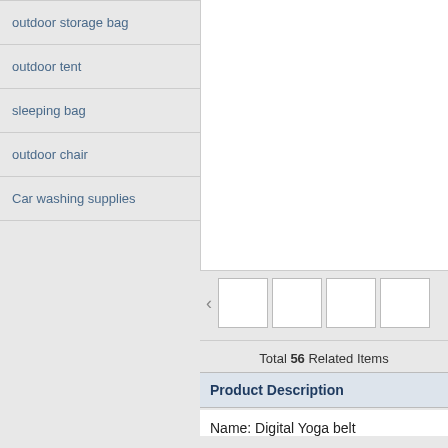outdoor storage bag
outdoor tent
sleeping bag
outdoor chair
Car washing supplies
[Figure (screenshot): Main product image area (white/blank)]
[Figure (screenshot): Thumbnail image carousel with left arrow and 4 thumbnail boxes]
Total 56 Related Items
Product Description
Name: Digital Yoga belt